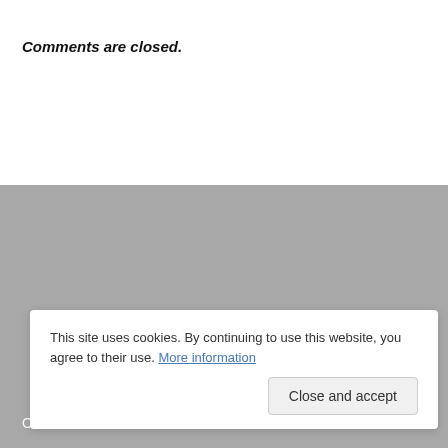Comments are closed.
OUR BOOK
[Figure (photo): Book cover showing 'Food with a View' and 'STADTKÜCHE' title with food imagery on dark wooden background]
This site uses cookies. By continuing to use this website, you agree to their use. More information
Close and accept